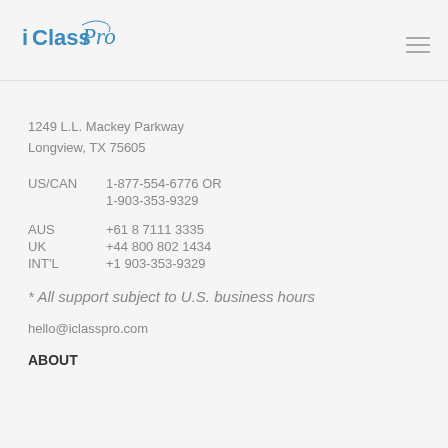[Figure (logo): iClassPro logo in blue cursive and sans-serif text]
1249 L.L. Mackey Parkway
Longview, TX 75605
US/CAN  1-877-554-6776 OR
         1-903-353-9329
AUS      +61 8 7111 3335
UK       +44 800 802 1434
INT'L    +1 903-353-9329
* All support subject to U.S. business hours
hello@iclasspro.com
ABOUT